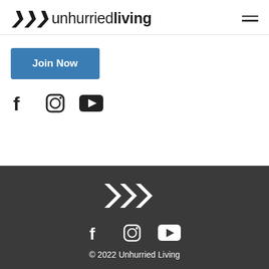>>> unhurriedliving
[Figure (logo): Unhurried Living logo with chevrons and text, plus hamburger menu icon]
Join Now
[Figure (infographic): Social media icons: Facebook, Instagram, YouTube]
[Figure (logo): Footer chevrons logo in white on dark background]
[Figure (infographic): Footer social media icons: Facebook, Instagram, YouTube in white]
© 2022 Unhurried Living